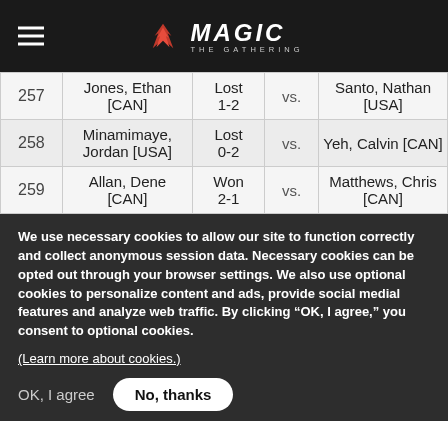Magic: The Gathering
| # | Player | Result | vs. | Opponent |
| --- | --- | --- | --- | --- |
| 257 | Jones, Ethan [CAN] | Lost 1-2 | vs. | Santo, Nathan [USA] |
| 258 | Minamimaye, Jordan [USA] | Lost 0-2 | vs. | Yeh, Calvin [CAN] |
| 259 | Allan, Dene [CAN] | Won 2-1 | vs. | Matthews, Chris [CAN] |
We use necessary cookies to allow our site to function correctly and collect anonymous session data. Necessary cookies can be opted out through your browser settings. We also use optional cookies to personalize content and ads, provide social medial features and analyze web traffic. By clicking “OK, I agree,” you consent to optional cookies. (Learn more about cookies.)
OK, I agree   No, thanks